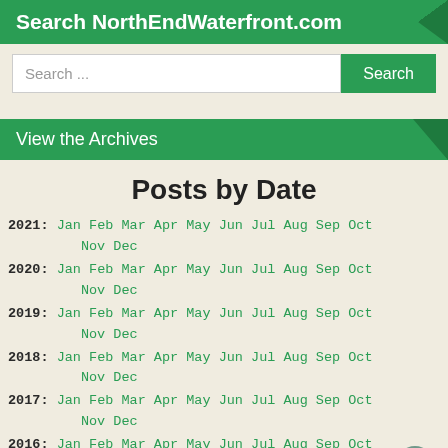Search NorthEndWaterfront.com
Search ...
View the Archives
Posts by Date
2021: Jan Feb Mar Apr May Jun Jul Aug Sep Oct Nov Dec
2020: Jan Feb Mar Apr May Jun Jul Aug Sep Oct Nov Dec
2019: Jan Feb Mar Apr May Jun Jul Aug Sep Oct Nov Dec
2018: Jan Feb Mar Apr May Jun Jul Aug Sep Oct Nov Dec
2017: Jan Feb Mar Apr May Jun Jul Aug Sep Oct Nov Dec
2016: Jan Feb Mar Apr May Jun Jul Aug Sep Oct Nov Dec
2015: Jan Feb Mar Apr ... Jul Aug Sep Oct